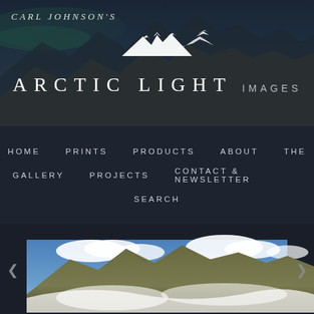[Figure (photo): Website header banner for Carl Johnson's Arctic Light Images: dark mountain landscape with aurora borealis sky, mountain peaks with snow, dramatic moody lighting]
CARL JOHNSON'S ARCTIC LIGHT IMAGES
HOME   PRINTS   PRODUCTS   ABOUT   THE GALLERY   PROJECTS   CONTACT & NEWSLETTER   SEARCH
[Figure (photo): Aerial photograph of mountain peaks rising above low clouds, bright blue sky with white clouds, golden-green alpine terrain, dramatic landscape photography]